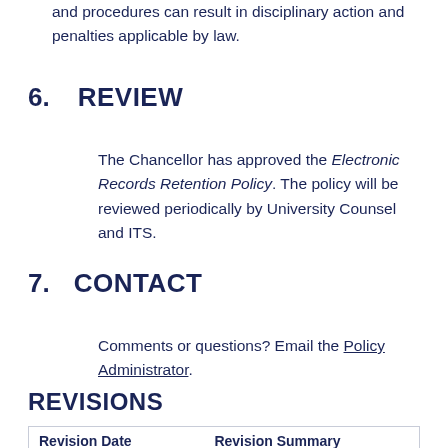and procedures can result in disciplinary action and penalties applicable by law.
6.   REVIEW
The Chancellor has approved the Electronic Records Retention Policy. The policy will be reviewed periodically by University Counsel and ITS.
7.   CONTACT
Comments or questions? Email the Policy Administrator.
REVISIONS
| Revision Date | Revision Summary |
| --- | --- |